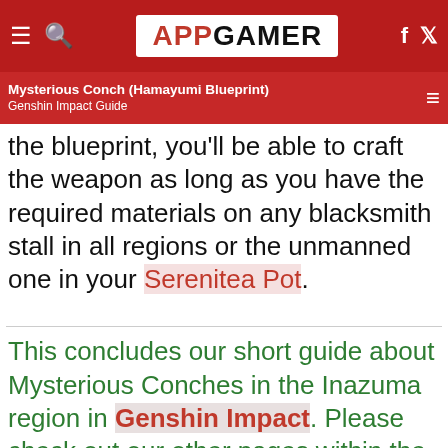AppGamer - Mysterious Conch (Hamayumi Blueprint) - Genshin Impact Guide
the blueprint, you'll be able to craft the weapon as long as you have the required materials on any blacksmith stall in all regions or the unmanned one in your Serenitea Pot.
This concludes our short guide about Mysterious Conches in the Inazuma region in Genshin Impact. Please check out our other pages within the guide for more helpful tips and Genshin Impact content.